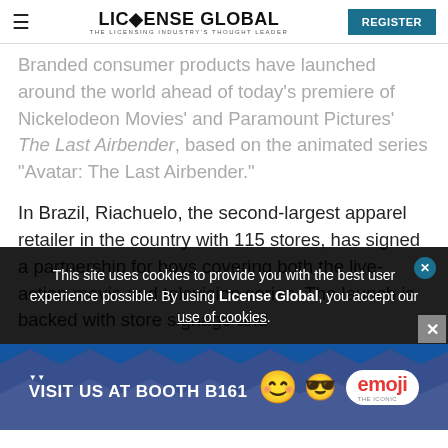LICENSE GLOBAL — THE LICENSING INDUSTRY'S THOUGHT LEADER | REGISTER
Branded consumer products have launched around the world ahead of today's premiere of Nickelodeon Movies' and Paramount Pictures' The Last Airbender, based on the animated series "Avatar: The Last Airbender."
In Brazil, Riachuelo, the second-largest apparel retailer in the country with 115 stores, has signed a partnership for boys covering both the live-action movie and television series. The launch is backed with store signage and premiums. Nickelodeon Consumer Products has had a
This site uses cookies to provide you with the best user experience possible. By using License Global, you accept our use of cookies.
[Figure (infographic): Advertisement banner: VISIT US AT BOOTH B161 with emoji brand logo and smiley face characters on blue background]